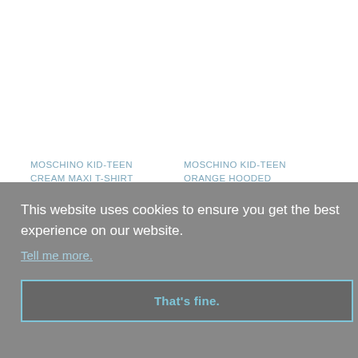MOSCHINO KID-TEEN
CREAM MAXI T-SHIRT
MOSCHINO KID-TEEN
ORANGE HOODED
This website uses cookies to ensure you get the best experience on our website.
Tell me more.
That's fine.